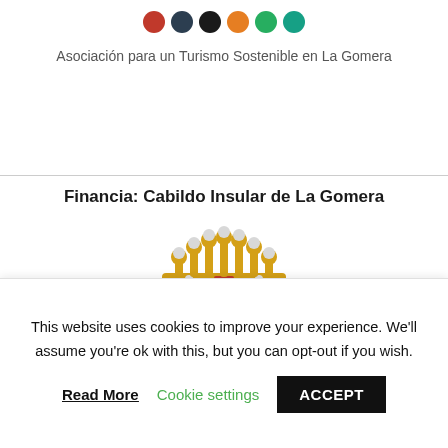[Figure (logo): Row of colored circular logo icons (red, dark, black, orange/green, green, teal) representing organization logos]
Asociación para un Turismo Sostenible en La Gomera
Financia: Cabildo Insular de La Gomera
[Figure (illustration): Coat of arms / shield of Cabildo Insular de La Gomera: red shield with golden crown on top bearing white orbs, red field with golden dots and two golden basket/bowl emblems, gold trim]
This website uses cookies to improve your experience. We'll assume you're ok with this, but you can opt-out if you wish.
Read More   Cookie settings   ACCEPT